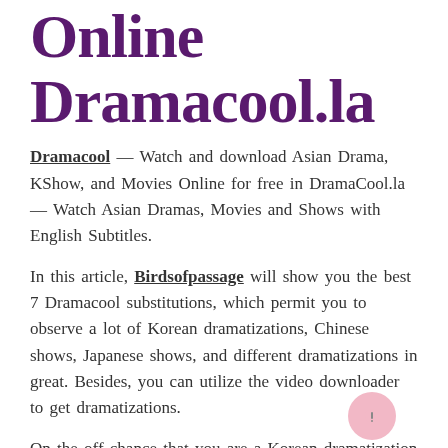Online Dramacool.la
Dramacool — Watch and download Asian Drama, KShow, and Movies Online for free in DramaCool.la — Watch Asian Dramas, Movies and Shows with English Subtitles.
In this article, Birdsofpassage will show you the best 7 Dramacool substitutions, which permit you to observe a lot of Korean dramatizations, Chinese shows, Japanese shows, and different dramatizations in great. Besides, you can utilize the video downloader to get dramatizations.
On the off chance that you are a Korean dramatization fan, you may have known Dramacool. It used to be perhaps the most well-known on-request real-time video stages and gave clients countless Korean dramatizations